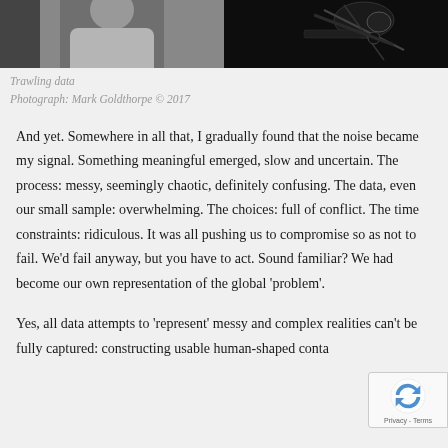[Figure (photo): Black and white photograph split into two halves: left shows a person in a white shirt, right shows what appears to be recording or audio equipment with cables in dark lighting]
Trawling data
Photograph: Mark Goldthorpe © 2017
And yet. Somewhere in all that, I gradually found that the noise became my signal. Something meaningful emerged, slow and uncertain. The process: messy, seemingly chaotic, definitely confusing. The data, even our small sample: overwhelming. The choices: full of conflict. The time constraints: ridiculous. It was all pushing us to compromise so as not to fail. We'd fail anyway, but you have to act. Sound familiar? We had become our own representation of the global 'problem'.
Yes, all data attempts to 'represent' messy and complex realities can't be fully captured: constructing usable human-shaped conta